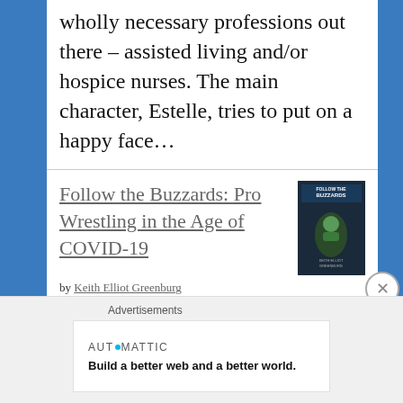wholly necessary professions out there – assisted living and/or hospice nurses. The main character, Estelle, tries to put on a happy face…
Follow the Buzzards: Pro Wrestling in the Age of COVID-19
by Keith Elliot Greenburg
As a wrestling fan, 2020 started like just about any other year. I recall attending my very first All Elite Wrestling show in February, during the
Advertisements
AUTOMATTIC
Build a better web and a better world.